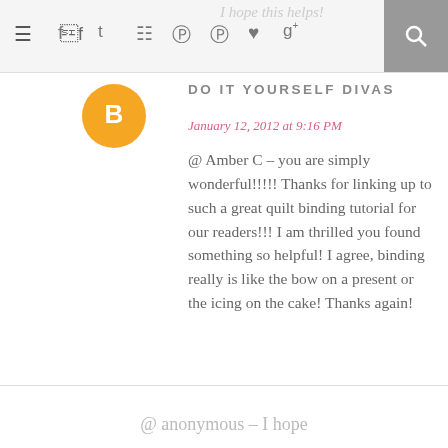I hope this helps!
[Figure (screenshot): Navigation bar with hamburger menu, social media icons (Facebook, Twitter, Instagram, Pinterest x2, heart, Google+), and a search button]
DO IT YOURSELF DIVAS
[Figure (logo): Blogger 'B' logo in orange circle]
January 12, 2012 at 9:16 PM
@ Amber C – you are simply wonderful!!!!! Thanks for linking up to such a great quilt binding tutorial for our readers!!! I am thrilled you found something so helpful! I agree, binding really is like the bow on a present or the icing on the cake! Thanks again!
@ anonymous – I hope